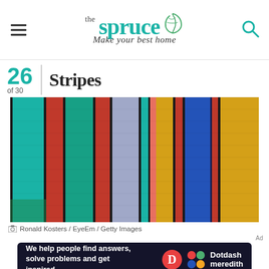the spruce — Make your best home
26 of 30 | Stripes
[Figure (photo): Close-up photograph of colorful striped textile fabric with vertical stripes in teal, red, black, lavender, orange, blue, green, and mustard yellow.]
Ronald Kosters / EyeEm / Getty Images
[Figure (other): Advertisement banner: 'We help people find answers, solve problems and get inspired.' with Dotdash Meredith logo.]